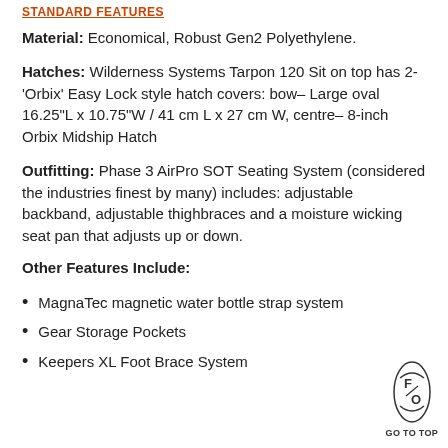STANDARD FEATURES
Material: Economical, Robust Gen2 Polyethylene.
Hatches: Wilderness Systems Tarpon 120 Sit on top has 2-'Orbix' Easy Lock style hatch covers: bow– Large oval 16.25"L x 10.75"W / 41 cm L x 27 cm W, centre– 8-inch Orbix Midship Hatch
Outfitting: Phase 3 AirPro SOT Seating System (considered the industries finest by many) includes: adjustable backband, adjustable thighbraces and a moisture wicking seat pan that adjusts up or down.
Other Features Include:
MagnaTec magnetic water bottle strap system
Gear Storage Pockets
Keepers XL Foot Brace System
[Figure (logo): F/O logo inside an oval/diamond shape with 'GO TO TOP' text below]